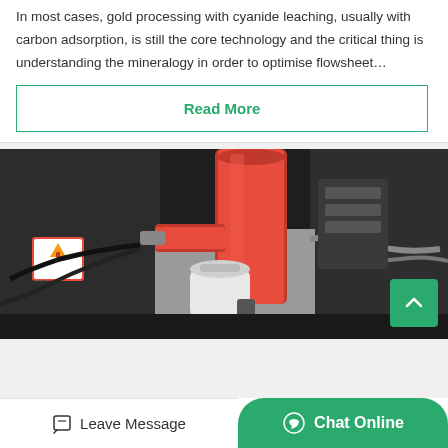In most cases, gold processing with cyanide leaching, usually with carbon adsorption, is still the core technology and the critical thing is understanding the mineralogy in order to optimise flowsheet…
Read More
[Figure (photo): Industrial equipment photo showing red cylindrical pump or valve assembly with hoses and a white canister/filter, mounted on dark machinery. Warning label visible on left side.]
Leave Message   Chat Online